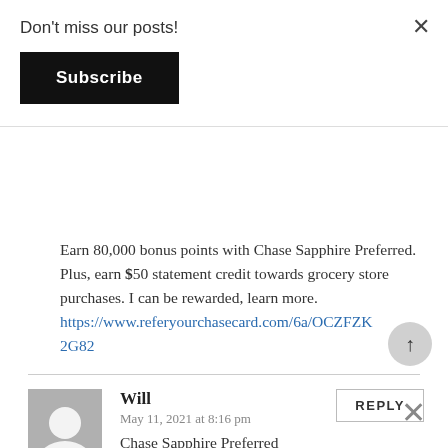Don't miss our posts!
Subscribe
Earn 80,000 bonus points with Chase Sapphire Preferred. Plus, earn $50 statement credit towards grocery store purchases. I can be rewarded, learn more. https://www.referyourchasecard.com/6a/OCZFZK2G82
Will
May 11, 2021 at 8:16 pm
Chase Sapphire Preferred
Earn 80k points after spending $4,000. + $50 grocery store statement credit.
Good Luck! Thank You!!
https://www.referyourchasecard.com/6a/OCZFZK...